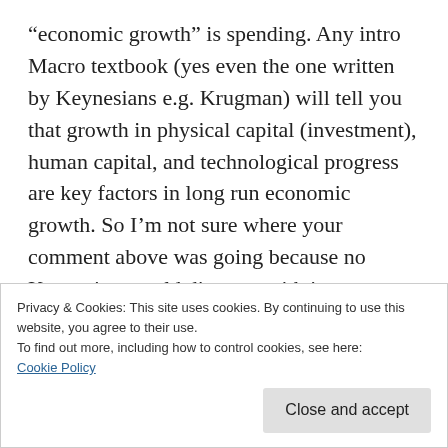“economic growth” is spending. Any intro Macro textbook (yes even the one written by Keynesians e.g. Krugman) will tell you that growth in physical capital (investment), human capital, and technological progress are key factors in long run economic growth. So I’m not sure where your comment above was going because no Keynesian would disagree with it.
Reply
Privacy & Cookies: This site uses cookies. By continuing to use this website, you agree to their use.
To find out more, including how to control cookies, see here:
Cookie Policy
Close and accept